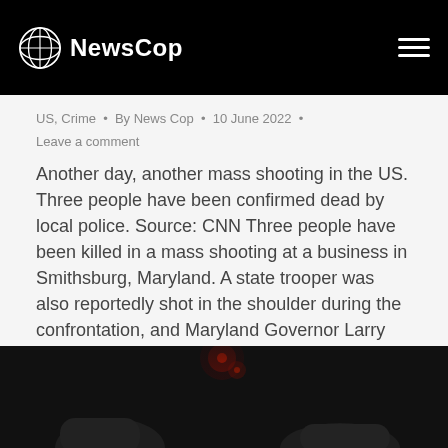NewsCop
US, Crime • By News Cop • 10 June 2022 •
Leave a comment
Another day, another mass shooting in the US. Three people have been confirmed dead by local police. Source: CNN Three people have been killed in a mass shooting at a business in Smithsburg, Maryland. A state trooper was also reportedly shot in the shoulder during the confrontation, and Maryland Governor Larry Hogan said he would…
[Figure (photo): Dark photograph showing silhouettes of people against a dark background with red bokeh lights visible in the upper area, appearing to be a nighttime or indoor scene.]